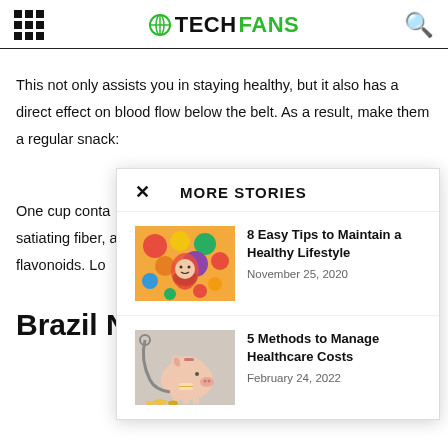TECHFANS
This not only assists you in staying healthy, but it also has a direct effect on blood flow below the belt. As a result, make them a regular snack:
One cup conta satiating fiber, a flavonoids. Lo
Brazil Nu
[Figure (screenshot): More Stories modal popup with two article entries: '8 Easy Tips to Maintain a Healthy Lifestyle' (November 25, 2020) with a colorful fruits/vegetables photo, and '5 Methods to Manage Healthcare Costs' (February 24, 2022) with a piggy bank photo.]